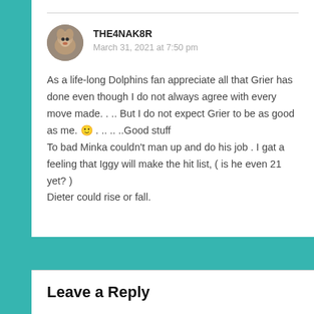THE4NAK8R
March 31, 2021 at 7:50 pm
As a life-long Dolphins fan appreciate all that Grier has done even though I do not always agree with every move made. . .. But I do not expect Grier to be as good as me. 🙂 . .. .. ..Good stuff
To bad Minka couldn't man up and do his job . I gat a feeling that Iggy will make the hit list, ( is he even 21 yet? )
Dieter could rise or fall.
Leave a Reply